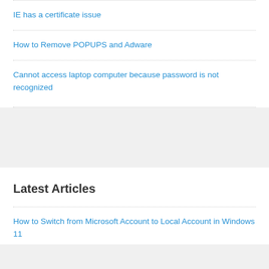IE has a certificate issue
How to Remove POPUPS and Adware
Cannot access laptop computer because password is not recognized
Latest Articles
How to Switch from Microsoft Account to Local Account in Windows 11